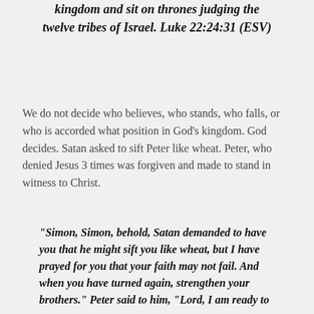kingdom and sit on thrones judging the twelve tribes of Israel. Luke 22:24:31 (ESV)
We do not decide who believes, who stands, who falls, or who is accorded what position in God's kingdom. God decides. Satan asked to sift Peter like wheat. Peter, who denied Jesus 3 times was forgiven and made to stand in witness to Christ.
“Simon, Simon, behold, Satan demanded to have you that he might sift you like wheat, but I have prayed for you that your faith may not fail. And when you have turned again, strengthen your brothers.” Peter said to him, “Lord, I am ready to go